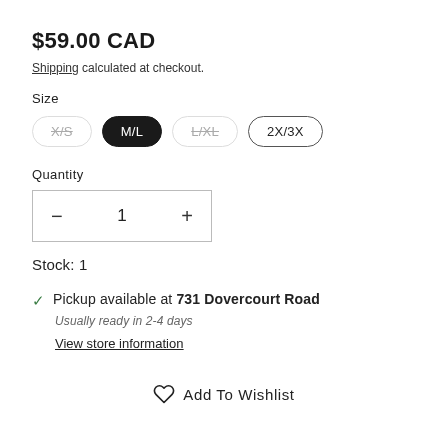$59.00 CAD
Shipping calculated at checkout.
Size
Size options: X/S (unavailable), M/L (selected), L/XL (unavailable), 2X/3X
Quantity
− 1 +
Stock: 1
✓ Pickup available at 731 Dovercourt Road
Usually ready in 2-4 days
View store information
♡ Add To Wishlist